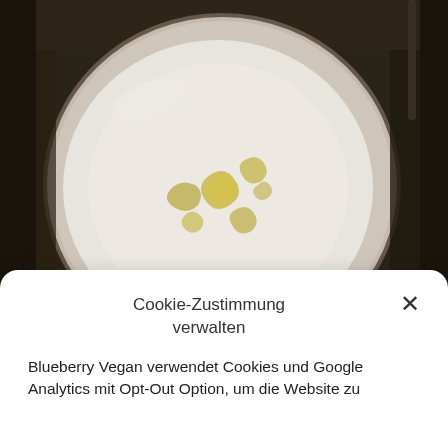[Figure (photo): Overhead view of a white bowl containing a light-colored soup or porridge with yellow garnish (possibly lemon zest or herb oil), set on a dark wooden table. The image is darkly lit.]
Cookie-Zustimmung verwalten
Blueberry Vegan verwendet Cookies und Google Analytics mit Opt-Out Option, um die Website zu